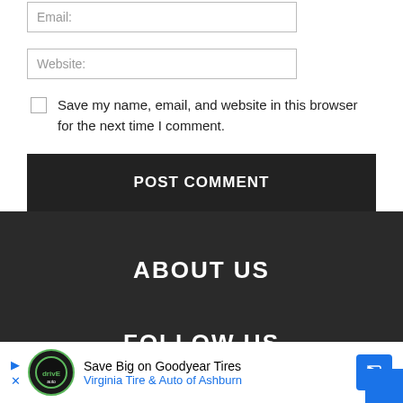Email:
Website:
Save my name, email, and website in this browser for the next time I comment.
POST COMMENT
ABOUT US
FOLLOW US
Save Big on Goodyear Tires Virginia Tire & Auto of Ashburn